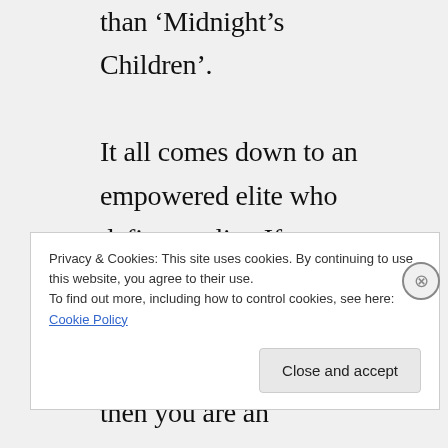than ‘Midnight’s Children’.

It all comes down to an empowered elite who define quality. If you dislike what they like, then you are ignorant or stupid, if you like what they like, then you are an
Privacy & Cookies: This site uses cookies. By continuing to use this website, you agree to their use.
To find out more, including how to control cookies, see here: Cookie Policy
Close and accept